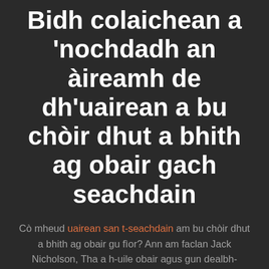Bidh colaichean a 'nochdadh an àireamh de dh'uairean a bu chòir dhut a bhith ag obair gach seachdain
Cò mheud uairean san t-seachdain am bu chòir dhut a bhith ag obair gu fìor? Ann am faclan Jack Nicholson, Tha a h-uile obair agus gun dealbh-chluich a 'dèanamh Jack na bhalach beag. Cothromach gu leòr, ach dè tha an saidheans ag ràdh?